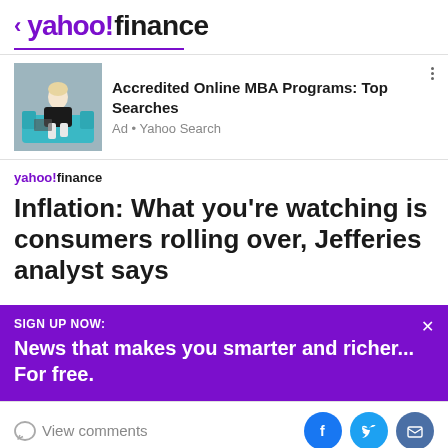< yahoo!finance
[Figure (screenshot): Yahoo Finance ad banner: image of woman sitting on blue sofa, ad for 'Accredited Online MBA Programs: Top Searches' from Yahoo Search]
Accredited Online MBA Programs: Top Searches
Ad • Yahoo Search
[Figure (logo): yahoo!finance small logo]
Inflation: What you're watching is consumers rolling over, Jefferies analyst says
SIGN UP NOW: News that makes you smarter and richer... For free.
View comments